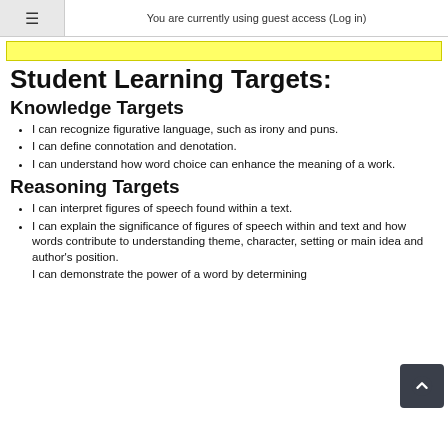≡  You are currently using guest access (Log in)
Student Learning Targets:
Knowledge Targets
I can recognize figurative language, such as irony and puns.
I can define connotation and denotation.
I can understand how word choice can enhance the meaning of a work.
Reasoning Targets
I can interpret figures of speech found within a text.
I can explain the significance of figures of speech within and text and how words contribute to understanding theme, character, setting or main idea and author's position.
I can demonstrate the power of a word by determining...